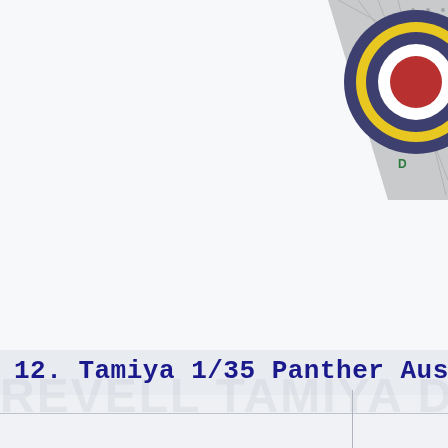[Figure (illustration): Partial view of an RAF-style roundel (concentric circles: outer dark blue/grey, yellow ring, white ring, red center) on a grey paneled surface, positioned in the top-right corner of the page.]
12. Tamiya 1/35 Panther Ausf. D